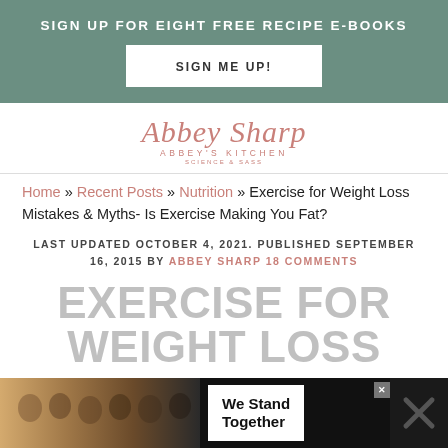SIGN UP FOR EIGHT FREE RECIPE E-BOOKS
SIGN ME UP!
[Figure (logo): Abbey Sharp - Abbey's Kitchen logo in script font with subtitle 'Science & Sass']
Home » Recent Posts » Nutrition » Exercise for Weight Loss Mistakes & Myths- Is Exercise Making You Fat?
LAST UPDATED OCTOBER 4, 2021. PUBLISHED SEPTEMBER 16, 2015 BY ABBEY SHARP 18 COMMENTS
EXERCISE FOR WEIGHT LOSS
[Figure (photo): Advertisement banner showing group of people with arms around each other and text 'We Stand Together']